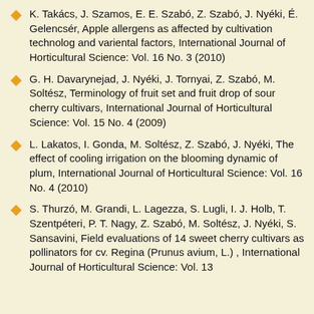K. Takács, J. Szamos, E. E. Szabó, Z. Szabó, J. Nyéki, É. Gelencsér, Apple allergens as affected by cultivation technolog and variental factors, International Journal of Horticultural Science: Vol. 16 No. 3 (2010)
G. H. Davarynejad, J. Nyéki, J. Tornyai, Z. Szabó, M. Soltész, Terminology of fruit set and fruit drop of sour cherry cultivars, International Journal of Horticultural Science: Vol. 15 No. 4 (2009)
L. Lakatos, I. Gonda, M. Soltész, Z. Szabó, J. Nyéki, The effect of cooling irrigation on the blooming dynamic of plum, International Journal of Horticultural Science: Vol. 16 No. 4 (2010)
S. Thurzó, M. Grandi, L. Lagezza, S. Lugli, I. J. Holb, T. Szentpéteri, P. T. Nagy, Z. Szabó, M. Soltész, J. Nyéki, S. Sansavini, Field evaluations of 14 sweet cherry cultivars as pollinators for cv. Regina (Prunus avium, L.) , International Journal of Horticultural Science: Vol. 13